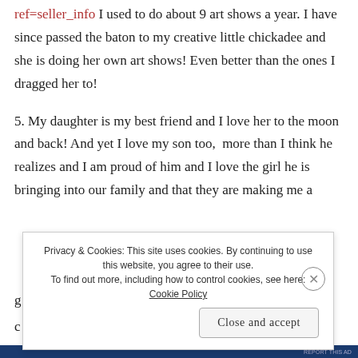here is:http://www.etsy.com/shop/thenakedbird?ref=seller_info I used to do about 9 art shows a year. I have since passed the baton to my creative little chickadee and she is doing her own art shows! Even better than the ones I dragged her to!
5. My daughter is my best friend and I love her to the moon and back! And yet I love my son too,  more than I think he realizes and I am proud of him and I love the girl he is bringing into our family and that they are making me a grandmother!
[Figure (screenshot): Cookie consent banner overlay with text: 'Privacy & Cookies: This site uses cookies. By continuing to use this website, you agree to their use. To find out more, including how to control cookies, see here: Cookie Policy'. Contains a 'Close and accept' button and an X close button.]